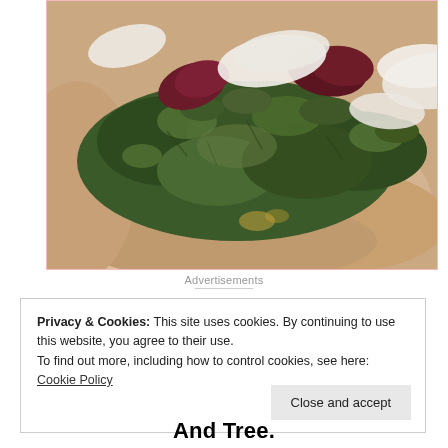[Figure (photo): Close-up photo of a flatbread or pizza topped with dark leafy greens (arugula), beet slices, and shaved white cheese, on a light beige/cream colored base, with a pink/light red border around the image.]
Advertisements
Privacy & Cookies: This site uses cookies. By continuing to use this website, you agree to their use.
To find out more, including how to control cookies, see here: Cookie Policy
Close and accept
And Tree.